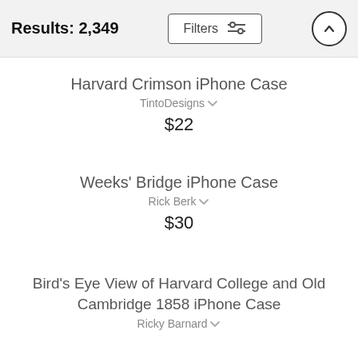Results: 2,349  Filters
Harvard Crimson iPhone Case
TintoDesigns
$22
Weeks' Bridge iPhone Case
Rick Berk
$30
Bird's Eye View of Harvard College and Old Cambridge 1858 iPhone Case
Ricky Barnard